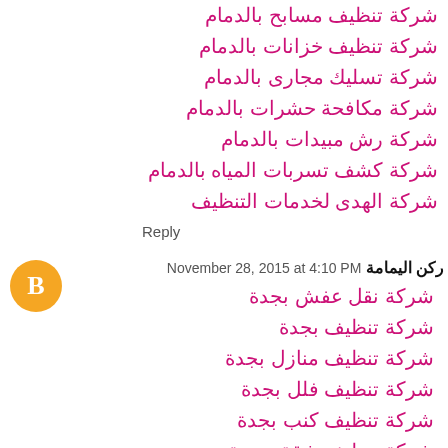شركة تنظيف مسابح بالدمام
شركة تنظيف خزانات بالدمام
شركة تسليك مجارى بالدمام
شركة مكافحة حشرات بالدمام
شركة رش مبيدات بالدمام
شركة كشف تسربات المياه بالدمام
شركة الهدى لخدمات التنظيف
Reply
ركن اليمامة November 28, 2015 at 4:10 PM
شركة نقل عفش بجدة
شركة تنظيف بجدة
شركة تنظيف منازل بجدة
شركة تنظيف فلل بجدة
شركة تنظيف كنب بجدة
شركة تنظيف شقق بجدة
شركة تنظيف مجالس بجدة
شركة تسليك مجارى بجدة
شركة مكافحة حشرات بجدة
شركة تنظيف خزانات بجدة